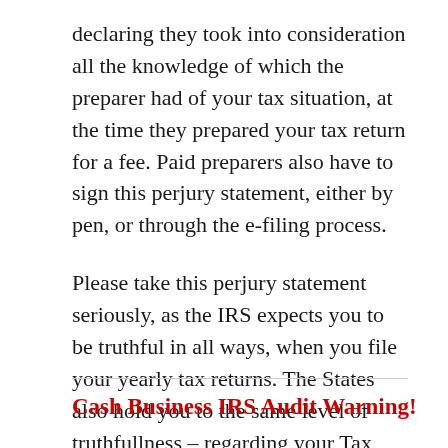declaring they took into consideration all the knowledge of which the preparer had of your tax situation, at the time they prepared your tax return for a fee. Paid preparers also have to sign this perjury statement, either by pen, or through the e-filing process.
Please take this perjury statement seriously, as the IRS expects you to be truthful in all ways, when you file your yearly tax returns. The States also hold you to the same level of truthfullness – regarding your Tax Story.
Cash Business IRS Audit Warning!